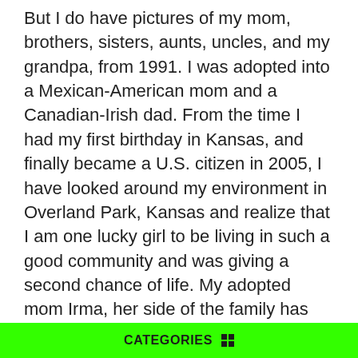But I do have pictures of my mom, brothers, sisters, aunts, uncles, and my grandpa, from 1991. I was adopted into a Mexican-American mom and a Canadian-Irish dad. From the time I had my first birthday in Kansas, and finally became a U.S. citizen in 2005, I have looked around my environment in Overland Park, Kansas and realize that I am one lucky girl to be living in such a good community and was giving a second chance of life. My adopted mom Irma, her side of the family has been so loving and crazy for the past 18 years of my life. Loving, from the time I came into the States with their arms open wide for a new baby stranger, to the time of now. Crazy, with those wild Mexican families of laughter and crazy aunts and uncles, but I love them all for they are. My adopted dad, David, his family has also been the same just like the Perez, crazy and caring. I am so glad that I was adopted to these two families, I could never ask for another family. Like some people say, “I can’t see my-self with another family”, well maybe because no one has ever tried to live with a family, unless they were forced to, like in a reality show.
CATEGORIES